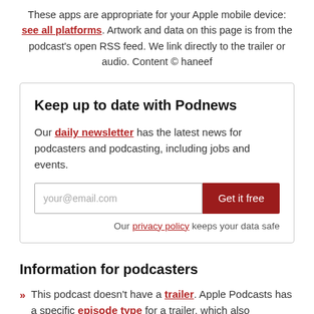These apps are appropriate for your Apple mobile device: see all platforms. Artwork and data on this page is from the podcast's open RSS feed. We link directly to the trailer or audio. Content © haneef
Keep up to date with Podnews
Our daily newsletter has the latest news for podcasters and podcasting, including jobs and events.
your@email.com | Get it free
Our privacy policy keeps your data safe
Information for podcasters
This podcast doesn't have a trailer. Apple Podcasts has a specific episode type for a trailer, which also